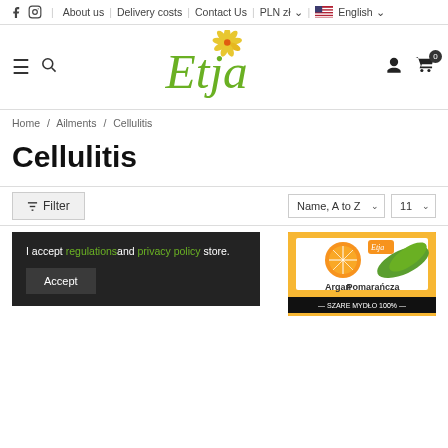f  [instagram]  About us  Delivery costs  Contact Us  PLN zł  English
[Figure (logo): Etja store logo — stylized green italic 'Etja' text with yellow flower/daisy graphic above the 'E']
Home / Ailments / Cellulitis
Cellulitis
Filter  Name, A to Z  11
I accept regulations and privacy policy store.
Accept
[Figure (photo): Product box: Argan Pomaranćza — Szare Mydło 100% (orange soap bar packaging with orange slices and green leaves)]